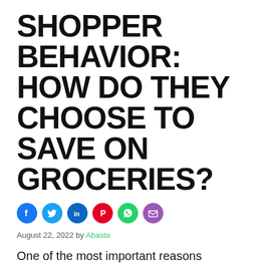SHOPPER BEHAVIOR: HOW DO THEY CHOOSE TO SAVE ON GROCERIES?
[Figure (infographic): Row of social media sharing icon buttons: Facebook (blue), Twitter (light blue), LinkedIn (dark blue), Pinterest (red), WhatsApp (green), Email (purple)]
August 22, 2022 by Abasto
One of the most important reasons shoppers choose not to use a grocery delivery service is that they want to pay no more than necessary, which was tied with wanting to select their produce, according to new shopper behavior...